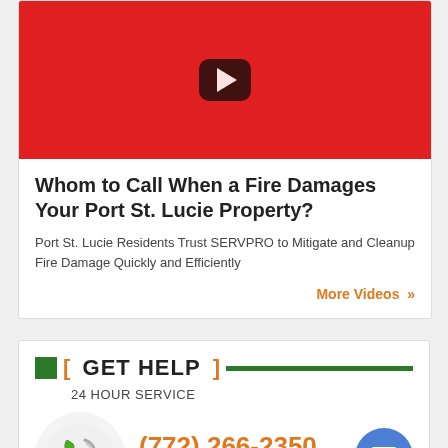[Figure (screenshot): Red YouTube-style video thumbnail with dark rounded play button in center]
Whom to Call When a Fire Damages Your Port St. Lucie Property?
Port St. Lucie Residents Trust SERVPRO to Mitigate and Cleanup Fire Damage Quickly and Efficiently
More Videos »
[ GET HELP ] 24 HOUR SERVICE
(772) 266-2350 CALL NOW